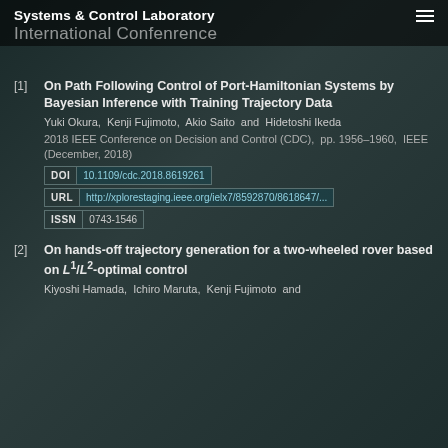Systems & Control Laboratory
International Conference
[1] On Path Following Control of Port-Hamiltonian Systems by Bayesian Inference with Training Trajectory Data
Yuki Okura, Kenji Fujimoto, Akio Saito and Hidetoshi Ikeda
2018 IEEE Conference on Decision and Control (CDC), pp. 1956-1960, IEEE (December, 2018)
DOI: 10.1109/cdc.2018.8619261
URL: http://xplorestaging.ieee.org/ielx7/8592870/8618647/...
ISSN: 0743-1546
[2] On hands-off trajectory generation for a two-wheeled rover based on L1/L2-optimal control
Kiyoshi Hamada, Ichiro Maruta, Kenji Fujimoto and